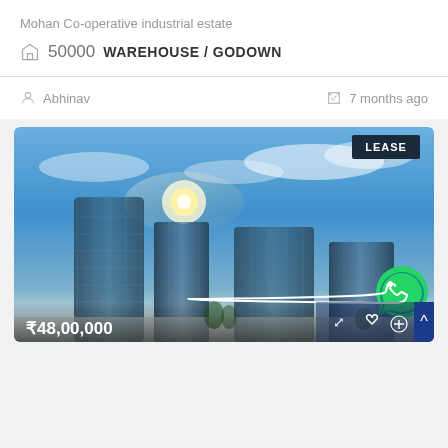Mohan Co-operative industrial estate
50000  WAREHOUSE / GODOWN
Abhinav
7 months ago
[Figure (photo): Commercial glass office buildings under blue sky with LEASE badge, price ₹48,00,000 shown at bottom]
LEASE
₹48,00,000